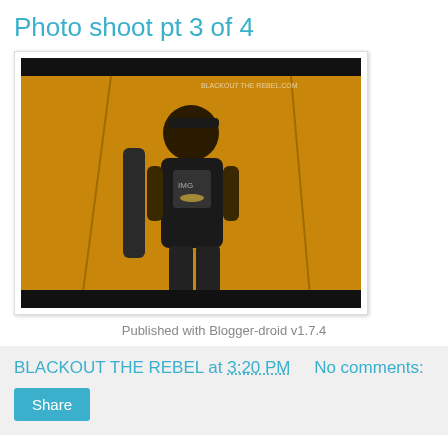Photo shoot pt 3 of 4
[Figure (photo): Person in black t-shirt and cap standing in a room with yellow/orange walls, holding what appears to be a microphone or cylindrical object. Photo has a black bar at top.]
Published with Blogger-droid v1.7.4
BLACKOUT THE REBEL at 3:20 PM   No comments:
Share
[Figure (photo): Same person in black t-shirt and cap in same yellow/orange room, similar pose. Partial view cropped at bottom.]